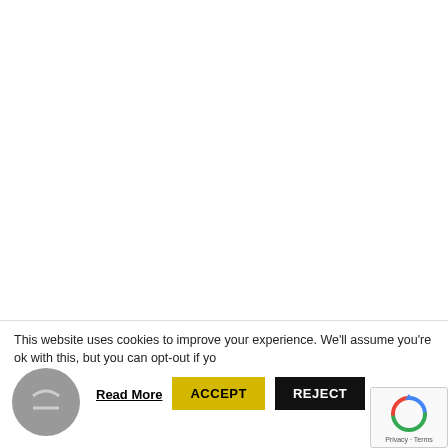This website uses cookies to improve your experience. We'll assume you're ok with this, but you can opt-out if yo
Read More
ACCEPT
REJECT